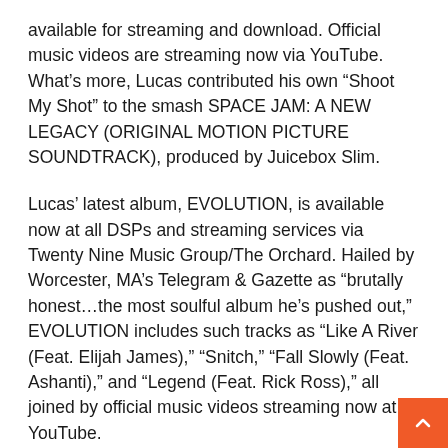available for streaming and download. Official music videos are streaming now via YouTube. What's more, Lucas contributed his own “Shoot My Shot” to the smash SPACE JAM: A NEW LEGACY (ORIGINAL MOTION PICTURE SOUNDTRACK), produced by Juicebox Slim.
Lucas’ latest album, EVOLUTION, is available now at all DSPs and streaming services via Twenty Nine Music Group/The Orchard. Hailed by Worcester, MA’s Telegram & Gazette as “brutally honest…the most soulful album he’s pushed out,” EVOLUTION includes such tracks as “Like A River (Feat. Elijah James),” “Snitch,” “Fall Slowly (Feat. Ashanti),” and “Legend (Feat. Rick Ross),” all joined by official music videos streaming now at YouTube.
Like its predecessors, “Rambo (Feat. Lil Durk)” is a fully independent production, created with the groundbreaking artists platform, Tully, with distribution by Twenty Nine Music Group. Co-founded by Lucas and